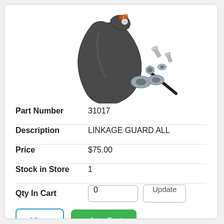[Figure (photo): Product photo of a linkage guard (dark plastic protective shield) with mounting hardware including bolts, nuts/washers, and an allen key/pin, displayed on a white background.]
| Part Number | 31017 |
| Description | LINKAGE GUARD ALL |
| Price | $75.00 |
| Stock in Store | 1 |
| Qty In Cart | 0 |